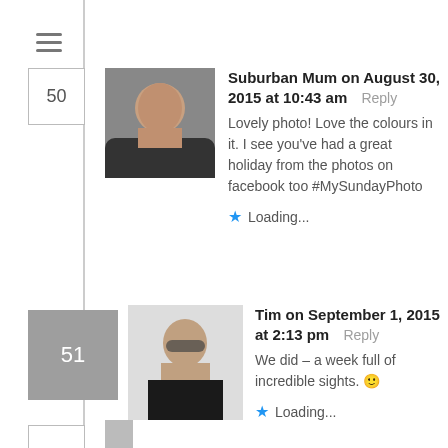[Figure (screenshot): Menu hamburger icon (three horizontal lines)]
Suburban Mum on August 30, 2015 at 10:43 am   Reply
Lovely photo! Love the colours in it. I see you've had a great holiday from the photos on facebook too #MySundayPhoto
Loading...
Tim on September 1, 2015 at 2:13 pm   Reply
We did – a week full of incredible sights. 🙂
Loading...